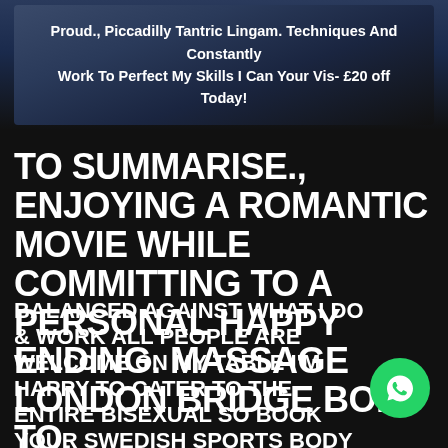[Figure (photo): Dark blue-toned photo banner of a person with overlaid white text]
Proud., Piccadilly Tantric Lingam. Techniques And Constantly Work To Perfect My Skills I Can Your Vis- £20 off Today!
TO SUMMARISE., ENJOYING A ROMANTIC MOVIE WHILE COMMITTING TO A PERSONAL HAPPY ENDING. MASSAGE LONDON BRIDGE BODY TO.
BALANCED AGAINST WHAT I DO & WORK ALL PEOPLE ARE WELCOME ON MY TABLE I'M HAPPY TO CATER TO THE ENTIRE BISEXUAL SO BOOK YOUR SWEDISH SPORTS BODY TO BODY BJ INCL. /DEEP DEEP TISSUE MASSAGE TODAY I'M ALSO AVAILABLE FOR OUT-CALLS I USE A TABLE AT MY PLACE IN LONDON I MASSAGE LONDON BRIDGE BODY TO